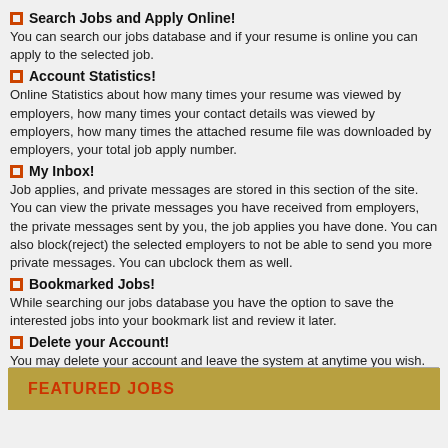Search Jobs and Apply Online!
You can search our jobs database and if your resume is online you can apply to the selected job.
Account Statistics!
Online Statistics about how many times your resume was viewed by employers, how many times your contact details was viewed by employers, how many times the attached resume file was downloaded by employers, your total job apply number.
My Inbox!
Job applies, and private messages are stored in this section of the site. You can view the private messages you have received from employers, the private messages sent by you, the job applies you have done. You can also block(reject) the selected employers to not be able to send you more private messages. You can ubclock them as well.
Bookmarked Jobs!
While searching our jobs database you have the option to save the interested jobs into your bookmark list and review it later.
Delete your Account!
You may delete your account and leave the system at anytime you wish. Your online resume will be automatically deleted from the database.
Click here to signup and create your account.
FEATURED JOBS